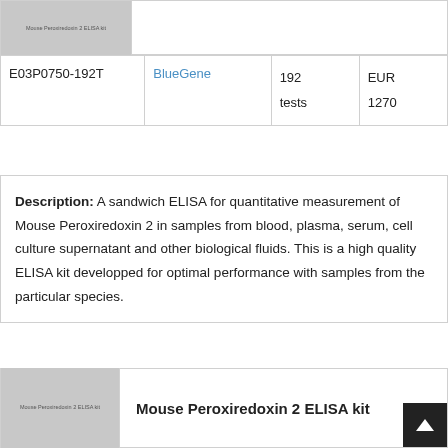[Figure (photo): Thumbnail image of Mouse Peroxiredoxin 2 ELISA kit product (top, greyed out)]
| E03P0750-192T | BlueGene | 192 tests | EUR 1270 |
Description: A sandwich ELISA for quantitative measurement of Mouse Peroxiredoxin 2 in samples from blood, plasma, serum, cell culture supernatant and other biological fluids. This is a high quality ELISA kit developped for optimal performance with samples from the particular species.
[Figure (photo): Thumbnail image of Mouse Peroxiredoxin 2 ELISA kit product (bottom)]
Mouse Peroxiredoxin 2 ELISA kit